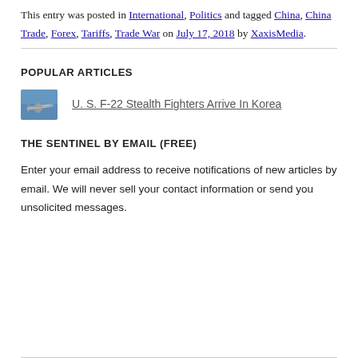This entry was posted in International, Politics and tagged China, China Trade, Forex, Tariffs, Trade War on July 17, 2018 by XaxisMedia.
POPULAR ARTICLES
[Figure (photo): Thumbnail photo of F-22 stealth fighter jet]
U. S. F-22 Stealth Fighters Arrive In Korea
THE SENTINEL BY EMAIL (FREE)
Enter your email address to receive notifications of new articles by email. We will never sell your contact information or send you unsolicited messages.